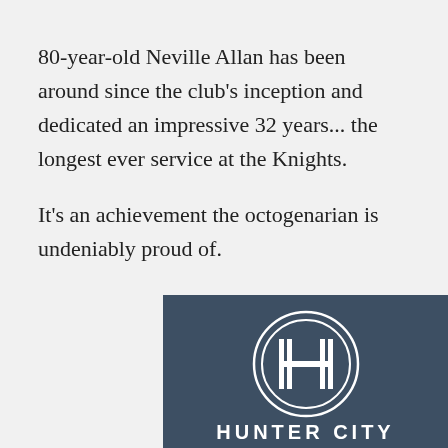80-year-old Neville Allan has been around since the club's inception and dedicated an impressive 32 years... the longest ever service at the Knights.
It's an achievement the octogenarian is undeniably proud of.
[Figure (logo): Hunter City Knights logo on dark slate-blue background: a stylized H inside a double circle, with 'HUNTER CITY' text below in white capital letters.]